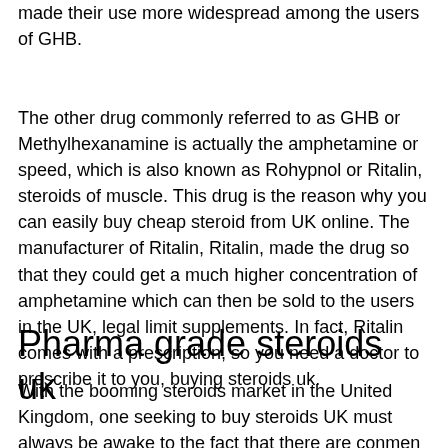made their use more widespread among the users of GHB.
The other drug commonly referred to as GHB or Methylhexanamine is actually the amphetamine or speed, which is also known as Rohypnol or Ritalin, steroids of muscle. This drug is the reason why you can easily buy cheap steroid from UK online. The manufacturer of Ritalin, Ritalin, made the drug so that they could get a much higher concentration of amphetamine which can then be sold to the users in the UK, legal limit supplements. In fact, Ritalin comes with a prescription, so you need a doctor to prescribe it to you, buying steroids uk.
Pharma grade steroids uk
With the booming steroids market in the United Kingdom, one seeking to buy steroids UK must always be awake to the fact that there are conmen trying to sell fake steroids